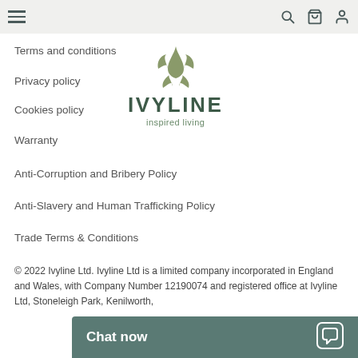Ivyline website navigation bar with hamburger menu, search, bag, and account icons
Terms and conditions
[Figure (logo): Ivyline logo with stylized leaf/plant icon above the word IVYLINE in dark green, subtitle 'inspired living']
Privacy policy
Cookies policy
Warranty
Anti-Corruption and Bribery Policy
Anti-Slavery and Human Trafficking Policy
Trade Terms & Conditions
© 2022 Ivyline Ltd. Ivyline Ltd is a limited company incorporated in England and Wales, with Company Number 12190074 and registered office at Ivyline Ltd, Stoneleigh Park, Kenilworth,
Chat now